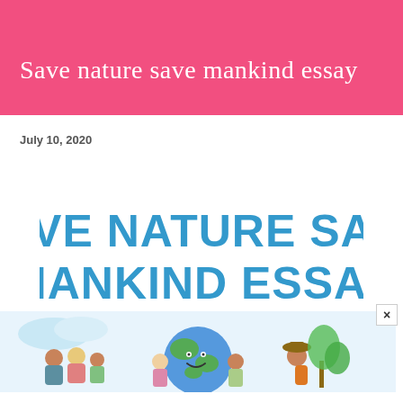Save nature save mankind essay
July 10, 2020
[Figure (illustration): Large bold text reading SAVE NATURE SAVE MANKIND ESSAY in blue, above a cartoon illustration showing children hugging the Earth globe with nature elements]
×